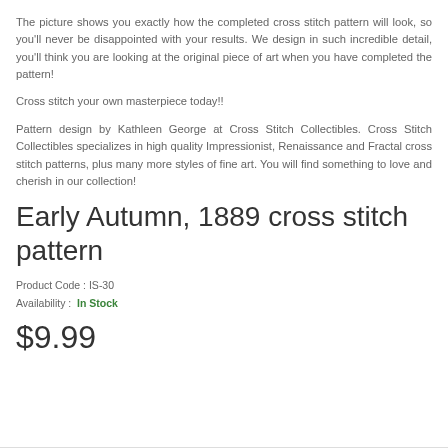The picture shows you exactly how the completed cross stitch pattern will look, so you'll never be disappointed with your results. We design in such incredible detail, you'll think you are looking at the original piece of art when you have completed the pattern!
Cross stitch your own masterpiece today!!
Pattern design by Kathleen George at Cross Stitch Collectibles. Cross Stitch Collectibles specializes in high quality Impressionist, Renaissance and Fractal cross stitch patterns, plus many more styles of fine art. You will find something to love and cherish in our collection!
Early Autumn, 1889 cross stitch pattern
Product Code : IS-30
Availability :  In Stock
$9.99